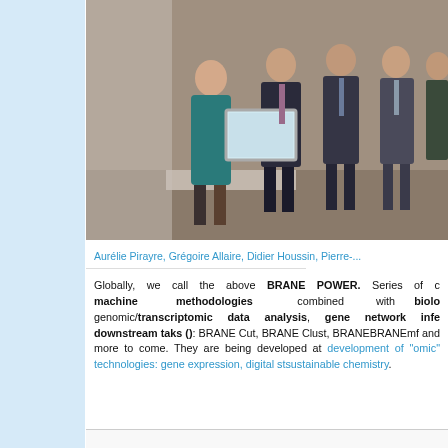[Figure (photo): Group photo of Aurélie Pirayre and several men in suits at an award ceremony, one person holding a framed certificate or plaque]
Aurélie Pirayre, Grégoire Allaire, Didier Houssin, Pierre-...
Globally, we call the above BRANE POWER. Series of ... machine methodologies combined with biolo... genomic/transcriptomic data analysis, gene network infe... downstream taks (): BRANE Cut, BRANE Clust, BRANE... BRANEmf and more to come. They are being developed at ... development of "omic" technologies: gene expression, digital st... sustainable chemistry.